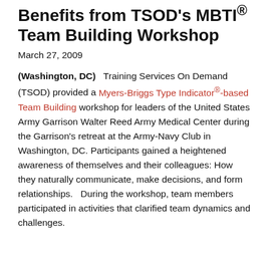Garrison Walter Reed Benefits from TSOD's MBTI® Team Building Workshop
March 27, 2009
(Washington, DC)   Training Services On Demand (TSOD) provided a Myers-Briggs Type Indicator®-based Team Building workshop for leaders of the United States Army Garrison Walter Reed Army Medical Center during the Garrison's retreat at the Army-Navy Club in Washington, DC. Participants gained a heightened awareness of themselves and their colleagues: How they naturally communicate, make decisions, and form relationships.   During the workshop, team members participated in activities that clarified team dynamics and challenges.